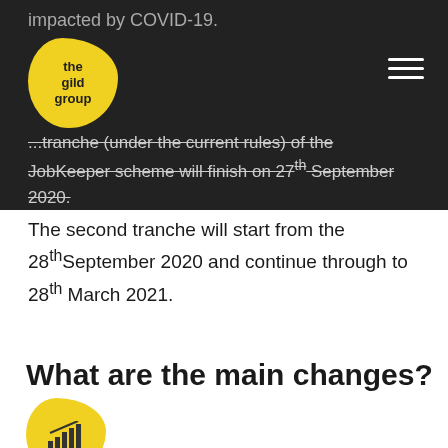impacted by COVID-19.
...tranche (under the current rules) of the JobKeeper scheme will finish on 27th September 2020. The second tranche will start from the 28th September 2020 and continue through to 28th March 2021.
What are the main changes?
[Figure (logo): The Gild Group yellow logo blob with chart icon]